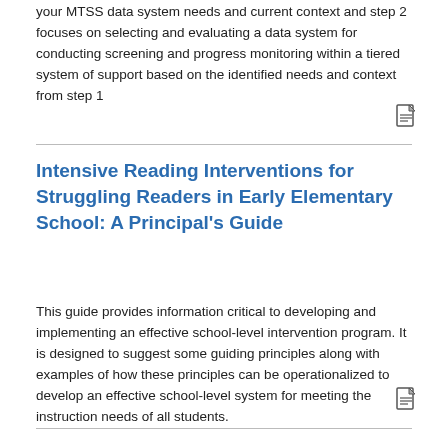your MTSS data system needs and current context and step 2 focuses on selecting and evaluating a data system for conducting screening and progress monitoring within a tiered system of support based on the identified needs and context from step 1
Intensive Reading Interventions for Struggling Readers in Early Elementary School: A Principal's Guide
This guide provides information critical to developing and implementing an effective school-level intervention program. It is designed to suggest some guiding principles along with examples of how these principles can be operationalized to develop an effective school-level system for meeting the instruction needs of all students.